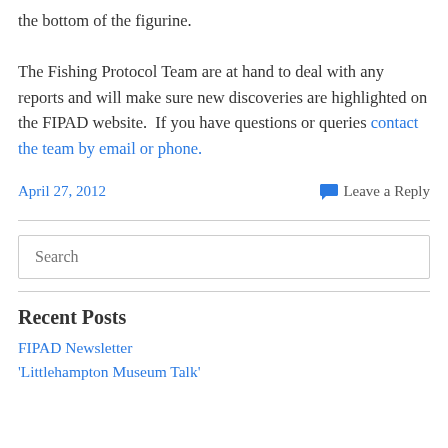the bottom of the figurine.

The Fishing Protocol Team are at hand to deal with any reports and will make sure new discoveries are highlighted on the FIPAD website.  If you have questions or queries contact the team by email or phone.
April 27, 2012
Leave a Reply
Recent Posts
FIPAD Newsletter
'Littlehampton Museum Talk'